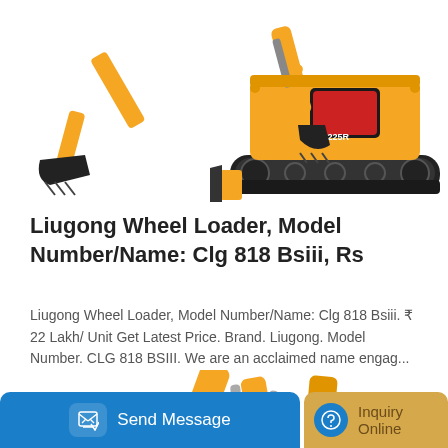[Figure (photo): Yellow mini excavator (YC225R model) with bucket arm extended, shown on white background]
Liugong Wheel Loader, Model Number/Name: Clg 818 Bsiii, Rs
Liugong Wheel Loader, Model Number/Name: Clg 818 Bsiii. ₹ 22 Lakh/ Unit Get Latest Price. Brand. Liugong. Model Number. CLG 818 BSIII. We are an acclaimed name engag...
Learn More
[Figure (photo): Partial view of a yellow construction excavator/loader at the bottom of the page]
Send Message
Inquiry Online